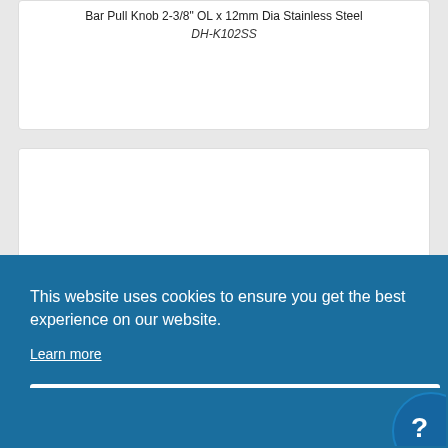Bar Pull Knob 2-3/8" OL x 12mm Dia Stainless Steel
DH-K102SS
[Figure (photo): T-bar pull knob in stainless steel finish, viewed from front, showing cylindrical horizontal bar on vertical stem]
This website uses cookies to ensure you get the best experience on our website.
Learn more
Got it